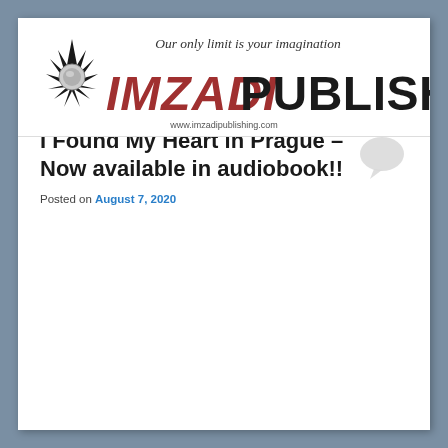[Figure (logo): Imzadi Publishing logo with star/sun graphic, red italic and bold text 'IMZADI PUBLISHING', tagline 'Our only limit is your imagination' in script, and website www.imzadipublishing.com]
About Us  Books  News!  Authors  Submissions  Contact Imzadi  Book Reviews
TAG ARCHIVES: AUD
I Found My Heart in Prague – Now available in audiobook!!
Posted on August 7, 2020